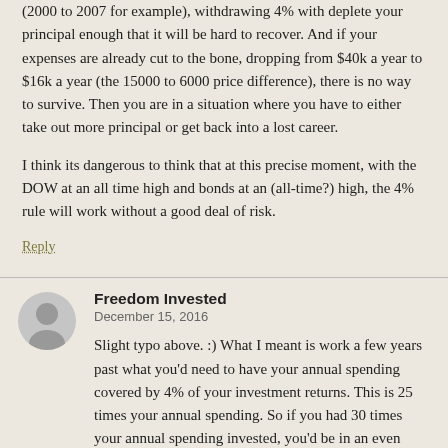(2000 to 2007 for example), withdrawing 4% with deplete your principal enough that it will be hard to recover. And if your expenses are already cut to the bone, dropping from $40k a year to $16k a year (the 15000 to 6000 price difference), there is no way to survive. Then you are in a situation where you have to either take out more principal or get back into a lost career.
I think its dangerous to think that at this precise moment, with the DOW at an all time high and bonds at an (all-time?) high, the 4% rule will work without a good deal of risk.
Reply
Freedom Invested
December 15, 2016
Slight typo above. :) What I meant is work a few years past what you'd need to have your annual spending covered by 4% of your investment returns. This is 25 times your annual spending. So if you had 30 times your annual spending invested, you'd be in an even safer position.